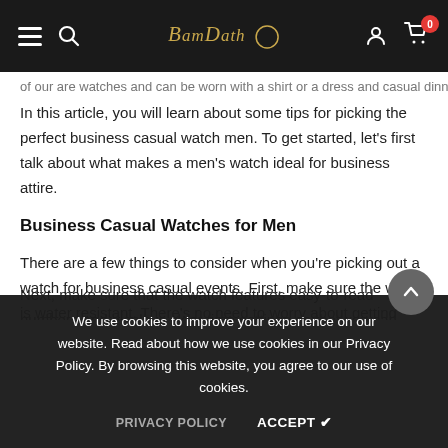BamDath — navigation header with hamburger menu, search, logo, user icon, cart (0)
of our are watches and can be worn with a shirt or a dress and casual dinner.
In this article, you will learn about some tips for picking the perfect business casual watch men. To get started, let's first talk about what makes a men's watch ideal for business attire.
Business Casual Watches for Men
There are a few things to consider when you're picking out a watch for business casual events. First, make sure the watch is water resistant. There's no need to worry about getting your suit wet if you're wearing an expensive $5,000 timepiece. Additionally, it should offer a variety of styles and colors. You don't want to be stuck with one color or style in the event that you have to switch up your look in-between meetings or presentations rather
Next, make sure that the watch features easy-to-read numbers and displays clear time settings so that you can always know what time it
We use cookies to improve your experience on our website. Read about how we use cookies in our Privacy Policy. By browsing this website, you agree to our use of cookies.
PRIVACY POLICY     ACCEPT ✔